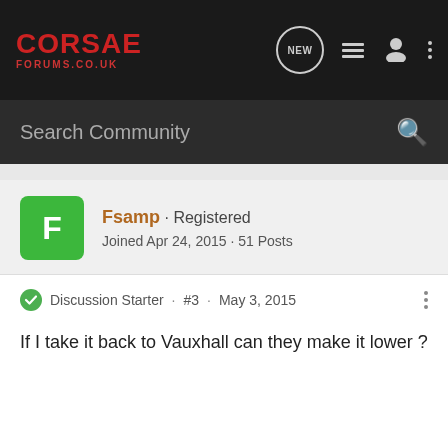CORSAE FORUMS.CO.UK — NEW — [nav icons]
Search Community
Fsamp · Registered
Joined Apr 24, 2015 · 51 Posts
Discussion Starter · #3 · May 3, 2015
If I take it back to Vauxhall can they make it lower ?
liverpaul · Registered